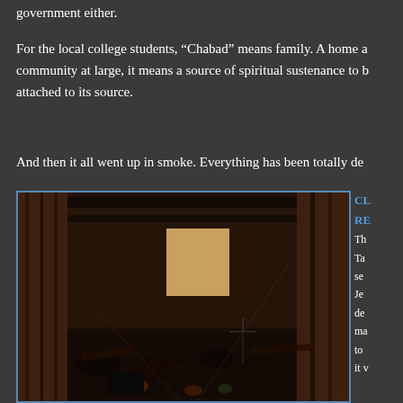government either.
For the local college students, “Chabad” means family. A home a community at large, it means a source of spiritual sustenance to l attached to its source.
And then it all went up in smoke. Everything has been totally de
[Figure (photo): Interior of a building destroyed by fire, showing charred debris, burned wooden beams, and destroyed furniture scattered across the floor.]
CL RE Th Ta se Je de ma to it v